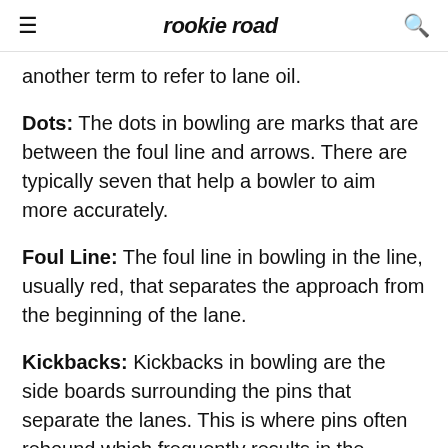rookie road
another term to refer to lane oil.
Dots: The dots in bowling are marks that are between the foul line and arrows. There are typically seven that help a bowler to aim more accurately.
Foul Line: The foul line in bowling in the line, usually red, that separates the approach from the beginning of the lane.
Kickbacks: Kickbacks in bowling are the side boards surrounding the pins that separate the lanes. This is where pins often rebound which frequently results in the